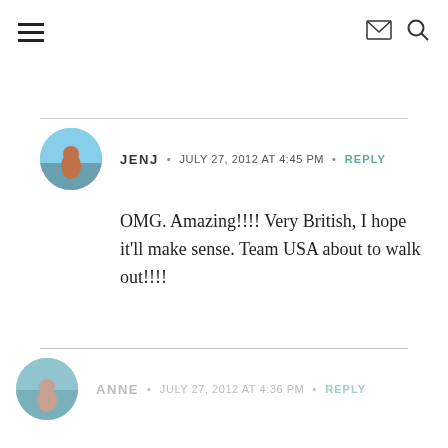Navigation header with hamburger menu, mail icon, and search icon
JENJ • JULY 27, 2012 AT 4:45 PM • REPLY
OMG. Amazing!!!! Very British, I hope it'll make sense. Team USA about to walk out!!!!
ANNE • JULY 27, 2012 AT 4:36 PM • REPLY